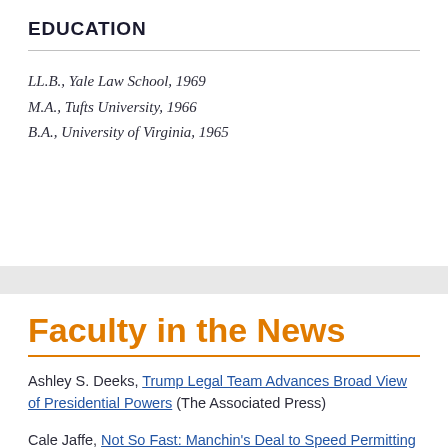EDUCATION
LL.B., Yale Law School, 1969
M.A., Tufts University, 1966
B.A., University of Virginia, 1965
Faculty in the News
Ashley S. Deeks, Trump Legal Team Advances Broad View of Presidential Powers (The Associated Press)
Cale Jaffe, Not So Fast: Manchin's Deal to Speed Permitting Is Not a Done Deal (Hart Energy)